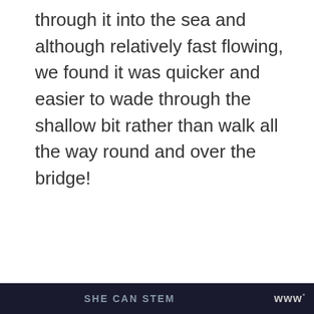through it into the sea and although relatively fast flowing, we found it was quicker and easier to wade through the shallow bit rather than walk all the way round and over the bridge!
[Figure (photo): Dark photo showing a starry night sky or dark background, with 'SHE CAN STEM' text at bottom. Includes a 'WHAT'S NEXT' popup showing a thumbnail and 'Family Day out in...' text. Social interaction buttons (heart/like and share) visible on the right side.]
SHE CAN STEM